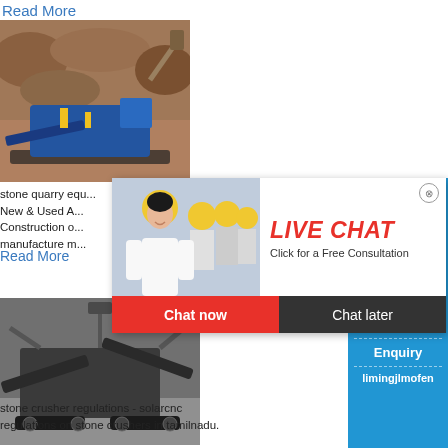Read More
[Figure (photo): Stone quarry with blue mobile crusher/screening machine on rocky terrain]
stone quarry equ...
New & Used A...
Construction o...
manufacture m...
Read More
[Figure (photo): Live Chat popup overlay with woman in hard hat, construction workers in background, Chat now and Chat later buttons]
[Figure (photo): Large mobile stone crusher machine on tracks at a quarry site]
stone crusher regulations - solarcnc
regulations on stone crushers in tamilnadu.
[Figure (infographic): Right sidebar: blue panel showing hour online, jaw crusher machine image, Click me to chat>> button, Enquiry section, limingjlmofen brand name]